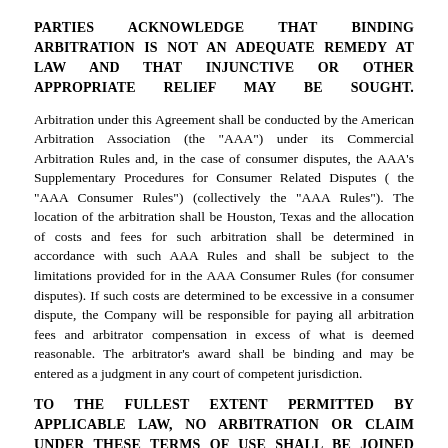PARTIES ACKNOWLEDGE THAT BINDING ARBITRATION IS NOT AN ADEQUATE REMEDY AT LAW AND THAT INJUNCTIVE OR OTHER APPROPRIATE RELIEF MAY BE SOUGHT.
Arbitration under this Agreement shall be conducted by the American Arbitration Association (the "AAA") under its Commercial Arbitration Rules and, in the case of consumer disputes, the AAA's Supplementary Procedures for Consumer Related Disputes ( the "AAA Consumer Rules") (collectively the "AAA Rules"). The location of the arbitration shall be Houston, Texas and the allocation of costs and fees for such arbitration shall be determined in accordance with such AAA Rules and shall be subject to the limitations provided for in the AAA Consumer Rules (for consumer disputes). If such costs are determined to be excessive in a consumer dispute, the Company will be responsible for paying all arbitration fees and arbitrator compensation in excess of what is deemed reasonable. The arbitrator's award shall be binding and may be entered as a judgment in any court of competent jurisdiction.
TO THE FULLEST EXTENT PERMITTED BY APPLICABLE LAW, NO ARBITRATION OR CLAIM UNDER THESE TERMS OF USE SHALL BE JOINED